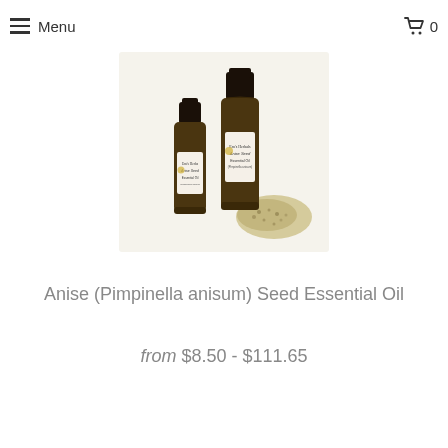Menu | Featured Products | 0
[Figure (photo): Two amber glass essential oil bottles labeled 'Em's Herbals Anise Seed Essential Oil (Pimpinella anisum)' — one smaller, one larger — alongside a small pile of anise seeds on a light background.]
Anise (Pimpinella anisum) Seed Essential Oil
from $8.50 - $111.65